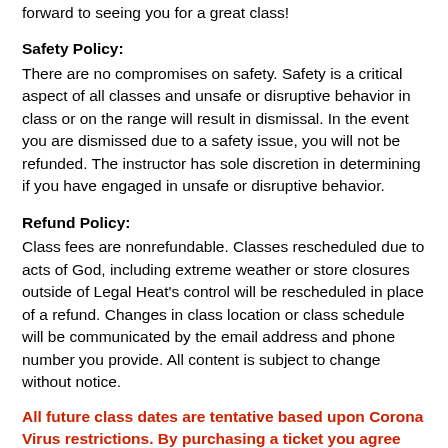forward to seeing you for a great class!
Safety Policy:
There are no compromises on safety. Safety is a critical aspect of all classes and unsafe or disruptive behavior in class or on the range will result in dismissal. In the event you are dismissed due to a safety issue, you will not be refunded. The instructor has sole discretion in determining if you have engaged in unsafe or disruptive behavior.
Refund Policy:
Class fees are nonrefundable. Classes rescheduled due to acts of God, including extreme weather or store closures outside of Legal Heat's control will be rescheduled in place of a refund. Changes in class location or class schedule will be communicated by the email address and phone number you provide. All content is subject to change without notice.
All future class dates are tentative based upon Corona Virus restrictions. By purchasing a ticket you agree that all in-person class fees are 100% NON-REFUNDABLE.  You accept